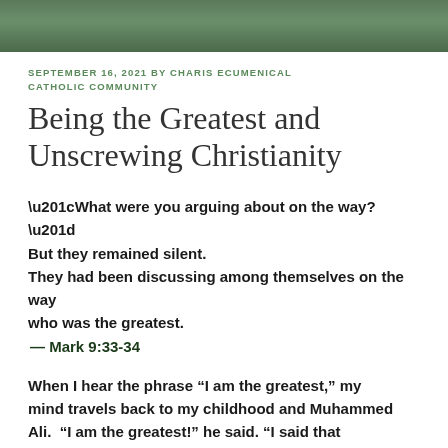[Figure (photo): Outdoor nature/greenery photo strip at top of page]
SEPTEMBER 16, 2021 BY CHARIS ECUMENICAL CATHOLIC COMMUNITY
Being the Greatest and Unscrewing Christianity
“What were you arguing about on the way?” But they remained silent. They had been discussing among themselves on the way who was the greatest. — Mark 9:33-34
When I hear the phrase “I am the greatest,” my mind travels back to my childhood and Muhammed Ali. “I am the greatest!” he said. “I said that before I knew I was.” Mohammed Ali on the i…